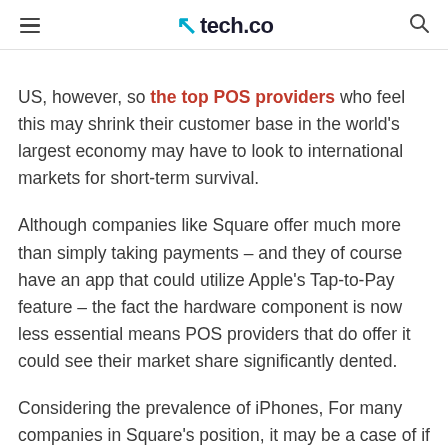tech.co
US, however, so the top POS providers who feel this may shrink their customer base in the world's largest economy may have to look to international markets for short-term survival.
Although companies like Square offer much more than simply taking payments – and they of course have an app that could utilize Apple's Tap-to-Pay feature – the fact the hardware component is now less essential means POS providers that do offer it could see their market share significantly dented.
Considering the prevalence of iPhones, For many companies in Square's position, it may be a case of if you...